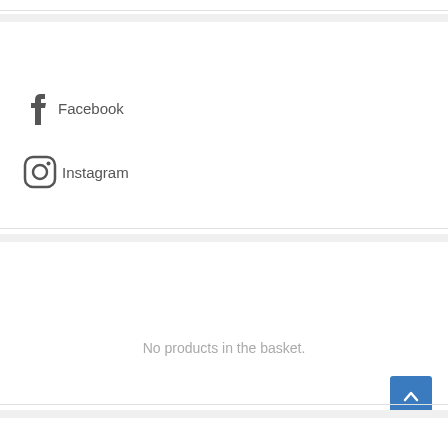Facebook
Instagram
No products in the basket.